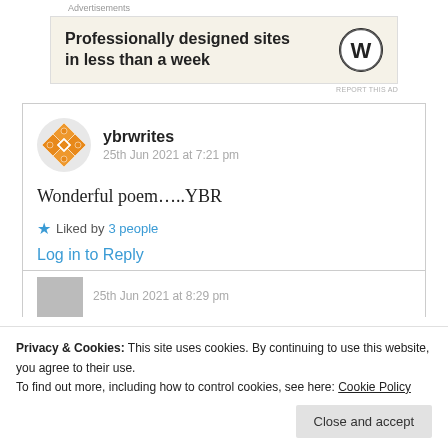Advertisements
[Figure (other): Advertisement banner: WordPress logo with text 'Professionally designed sites in less than a week']
REPORT THIS AD
ybrwrites
25th Jun 2021 at 7:21 pm
Wonderful poem…..YBR
★ Liked by 3 people
Log in to Reply
Privacy & Cookies: This site uses cookies. By continuing to use this website, you agree to their use.
To find out more, including how to control cookies, see here: Cookie Policy
Close and accept
25th Jun 2021 at 8:29 pm